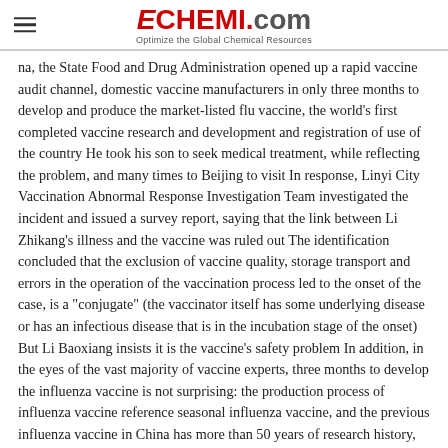ECHEMI.com — Optimize the Global Chemical Resources
na, the State Food and Drug Administration opened up a rapid vaccine audit channel, domestic vaccine manufacturers in only three months to develop and produce the market-listed flu vaccine, the world's first completed vaccine research and development and registration of use of the country He took his son to seek medical treatment, while reflecting the problem, and many times to Beijing to visit In response, Linyi City Vaccination Abnormal Response Investigation Team investigated the incident and issued a survey report, saying that the link between Li Zhikang's illness and the vaccine was ruled out The identification concluded that the exclusion of vaccine quality, storage transport and errors in the operation of the vaccination process led to the onset of the case, is a "conjugate" (the vaccinator itself has some underlying disease or has an infectious disease that is in the incubation stage of the onset) But Li Baoxiang insists it is the vaccine's safety problem In addition, in the eyes of the vast majority of vaccine experts, three months to develop the influenza vaccine is not surprising: the production process of influenza vaccine reference seasonal influenza vaccine, and the previous influenza vaccine in China has more than 50 years of research history, technology has matured The vaccine's safety trial also covered people aged 3 to 55 and older, with nearly 10,000 participants Such a large sample size is a safe guarantee The safety of vaccines has also been